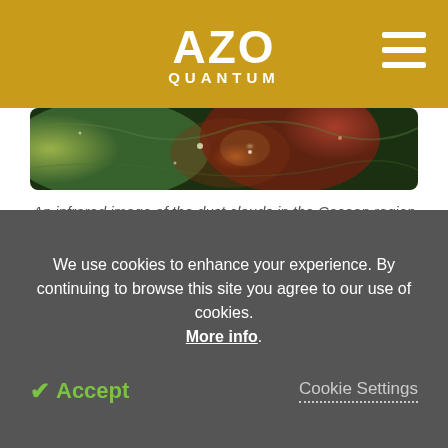AZO QUANTUM
[Figure (photo): An infrared image of dust clouds showing green and red/orange colors, representing the Cocoon region taken with the Spitzer Space Telescope's IR photometer with HAWC TeV gamma-ray excess overlaid.]
An infrared image of the dust clouds in the Cocoon region taken with the Spitzers Space Telescope's IR photometer. The HAWC TeV gamma-ray excess (color from green to yellow to red) is overlaid on the 24 micrometer infrared image of the dust clouds in the Cocoon region from the Spitzer Space Telescope (white regions). Image Credit: eV; Binita Hong (HAWC
We use cookies to enhance your experience. By continuing to browse this site you agree to our use of cookies. More info.